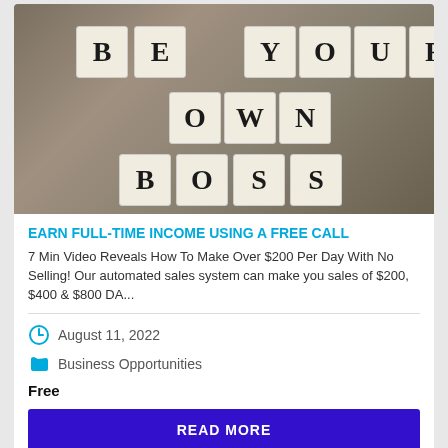[Figure (photo): Black and white photo of Scrabble-like letter tiles spelling BE YOUR OWN BOSS arranged on a wooden surface]
EARN FULL-TIME INCOME USING A FREE CALL
7 Min Video Reveals How To Make Over $200 Per Day With No Selling! Our automated sales system can make you sales of $200, $400 & $800 DA...
August 11, 2022
Business Opportunities
Free
READ MORE